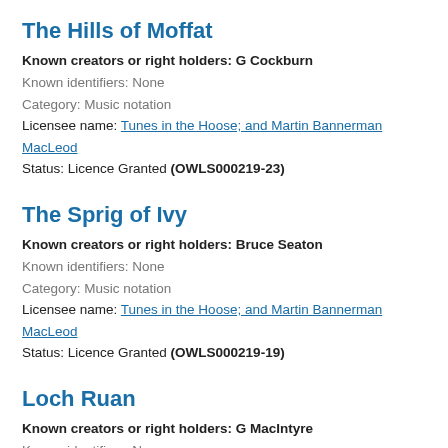The Hills of Moffat
Known creators or right holders: G Cockburn
Known identifiers: None
Category: Music notation
Licensee name: Tunes in the Hoose; and Martin Bannerman MacLeod
Status: Licence Granted (OWLS000219-23)
The Sprig of Ivy
Known creators or right holders: Bruce Seaton
Known identifiers: None
Category: Music notation
Licensee name: Tunes in the Hoose; and Martin Bannerman MacLeod
Status: Licence Granted (OWLS000219-19)
Loch Ruan
Known creators or right holders: G MacIntyre
Known identifiers: None